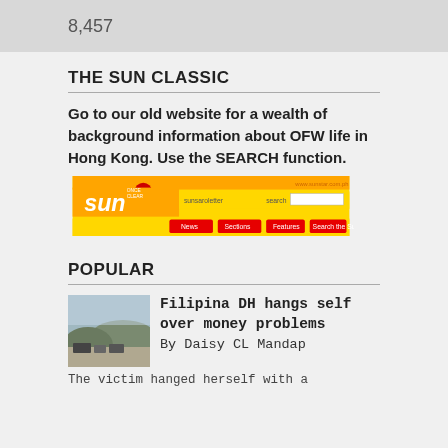8,457
THE SUN CLASSIC
Go to our old website for a wealth of background information about OFW life in Hong Kong. Use the SEARCH function.
[Figure (screenshot): Screenshot of The Sun Classic website with yellow banner, Sun logo, navigation bar and search field]
POPULAR
[Figure (photo): Thumbnail photo showing an outdoor scene with vehicles and hills in the background]
Filipina DH hangs self over money problems
By Daisy CL Mandap
The victim hanged herself with a